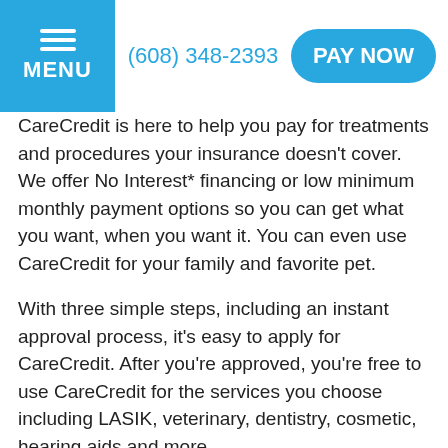MENU  (608) 348-2393  PAY NOW
CareCredit is here to help you pay for treatments and procedures your insurance doesn't cover. We offer No Interest* financing or low minimum monthly payment options so you can get what you want, when you want it. You can even use CareCredit for your family and favorite pet.
With three simple steps, including an instant approval process, it's easy to apply for CareCredit. After you're approved, you're free to use CareCredit for the services you choose including LASIK, veterinary, dentistry, cosmetic, hearing aids and more.
CareCredit is endorsed by some of the most credible organizations specific to each healthcare profession we support. And CareCredit is a GE Money Company, so you know you can count on us. For over 20 years, we've been helping over five million cardholders get the healthcare treatments they want and need.